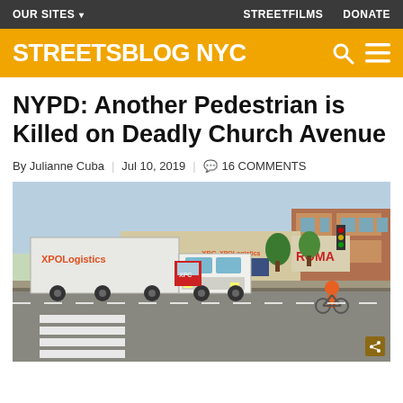OUR SITES ▾ | STREETFILMS | DONATE
STREETSBLOG NYC
NYPD: Another Pedestrian is Killed on Deadly Church Avenue
By Julianne Cuba | Jul 10, 2019 | 16 COMMENTS
[Figure (photo): Street-level photo of Church Avenue intersection in NYC showing large XPO Logistics truck and smaller truck in crosswalk area, with commercial storefronts including ROMA sign, trees, traffic lights, and a cyclist in orange shirt in background]